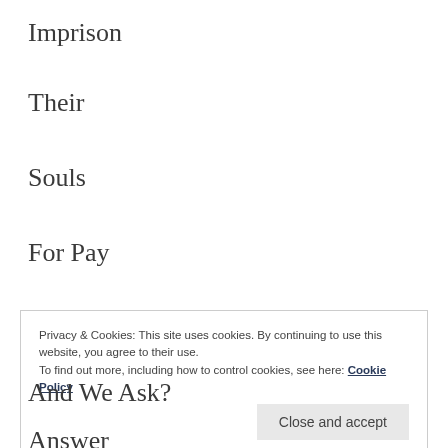Imprison
Their
Souls
For Pay
And We Ask Why?
And We Ask?
Privacy & Cookies: This site uses cookies. By continuing to use this website, you agree to their use. To find out more, including how to control cookies, see here: Cookie Policy
Close and accept
Answer